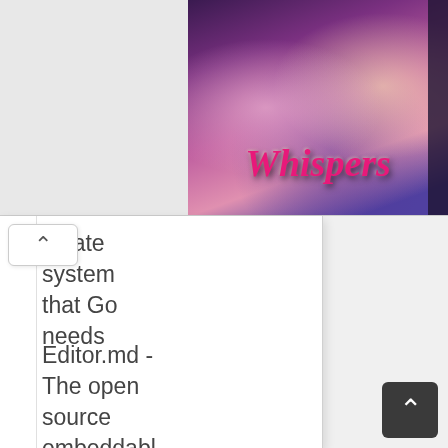[Figure (screenshot): Whispers game banner/advertisement showing romantic characters with the 'Whispers' logo in pink stylized text on a colorful background]
nplate system that Go needs
Editor.md - The open source embeddabl online markdown editor (componen
Tina - Site